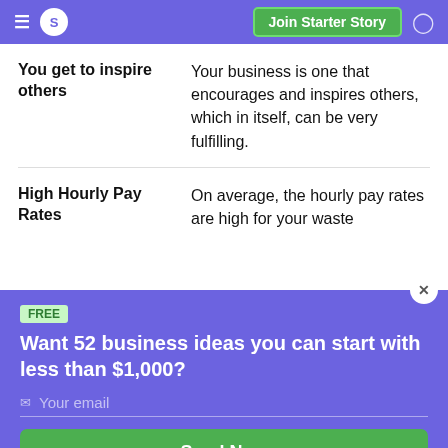S  Join Starter Story
|  |  |
| --- | --- |
| You get to inspire others | Your business is one that encourages and inspires others, which in itself, can be very fulfilling. |
| High Hourly Pay Rates | On average, the hourly pay rates are high for your waste |
FREE
Want 52 business ideas you can start with less than $1,000?
Your email
Send Now